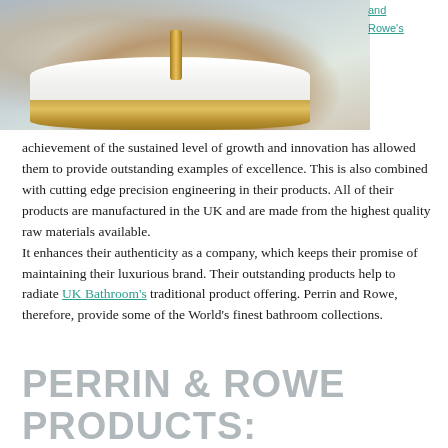[Figure (photo): A freestanding bathtub with a gold/brass exterior and white interior, with gold tap fittings, set against a patterned wallpaper background]
and
Rowe's
achievement of the sustained level of growth and innovation has allowed them to provide outstanding examples of excellence. This is also combined with cutting edge precision engineering in their products. All of their products are manufactured in the UK and are made from the highest quality raw materials available.
It enhances their authenticity as a company, which keeps their promise of maintaining their luxurious brand. Their outstanding products help to radiate UK Bathroom's traditional product offering. Perrin and Rowe, therefore, provide some of the World's finest bathroom collections.
PERRIN & ROWE PRODUCTS: